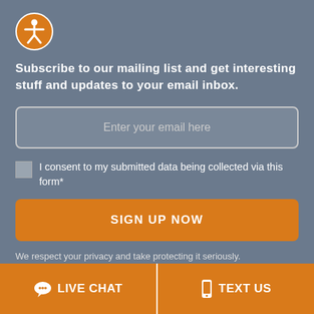[Figure (logo): Accessibility icon — orange circle with white human figure silhouette (universal accessibility symbol)]
Subscribe to our mailing list and get interesting stuff and updates to your email inbox.
Enter your email here
I consent to my submitted data being collected via this form*
SIGN UP NOW
We respect your privacy and take protecting it seriously.
LIVE CHAT
TEXT US